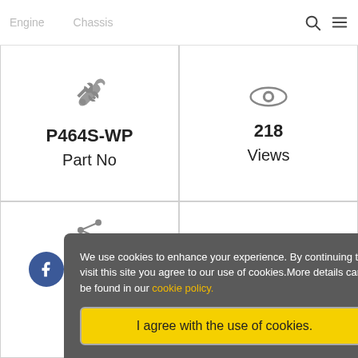Engine   Chassis
[Figure (other): Wrench icon above P464S-WP Part No]
P464S-WP
Part No
[Figure (other): Eye icon above 218 Views]
218
Views
[Figure (other): Share icon with Facebook, Twitter, WhatsApp social buttons]
Share
We use cookies to enhance your experience. By continuing to visit this site you agree to our use of cookies.More details can be found in our cookie policy.
I agree with the use of cookies.